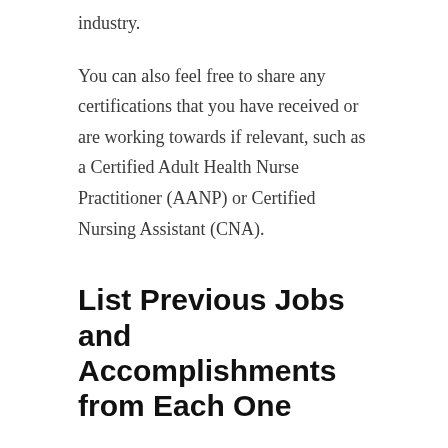industry.
You can also feel free to share any certifications that you have received or are working towards if relevant, such as a Certified Adult Health Nurse Practitioner (AANP) or Certified Nursing Assistant (CNA).
List Previous Jobs and Accomplishments from Each One
A good resume should list all of your previous jobs, as well as what you contributed to each one.